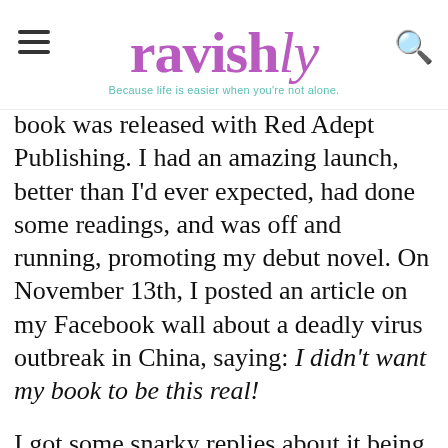ravishly — Because life is easier when you're not alone.
book was released with Red Adept Publishing. I had an amazing launch, better than I'd ever expected, had done some readings, and was off and running, promoting my debut novel. On November 13th, I posted an article on my Facebook wall about a deadly virus outbreak in China, saying: I didn't want my book to be this real!
I got some snarky replies about it being less deadly than the flu. No one took it seriously, not even me. Over the next few months, I was in a bubble of co-writing my second novel with my writing partner while also trying to promote. Past